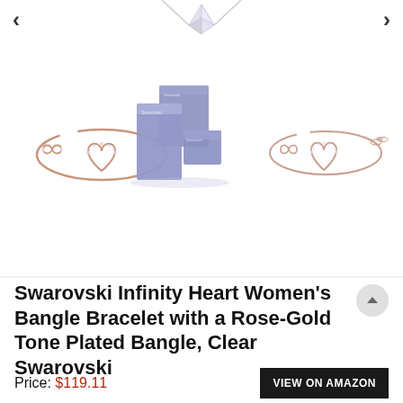[Figure (photo): Product carousel showing three views: rose-gold infinity heart bangle bracelet (left), Swarovski branded gift boxes in lavender/purple (center), and rose-gold infinity heart bangle bracelet alternate view (right). Partial necklace visible at top with carousel navigation arrows.]
Swarovski Infinity Heart Women's Bangle Bracelet with a Rose-Gold Tone Plated Bangle, Clear Swarovski
Price: $119.11
VIEW ON AMAZON